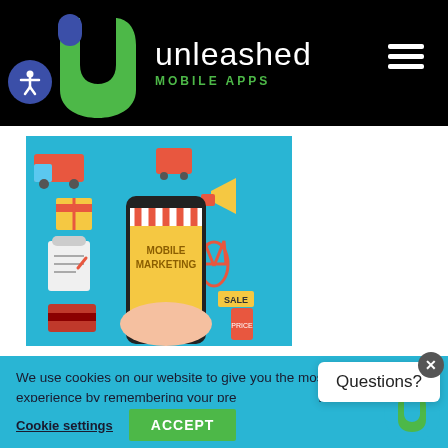[Figure (logo): Unleashed Mobile Apps logo on black header background with green U-shaped icon and white/green text]
[Figure (illustration): Mobile marketing illustration showing a hand holding a smartphone with a market stall awning on screen, surrounded by e-commerce icons on a teal background]
We use cookies on our website to give you the most relevant experience by remembering your preferences and repeat visits. By clicking "Accept", you consent to the use of ALL the cookies.
Cookie settings
ACCEPT
Questions?